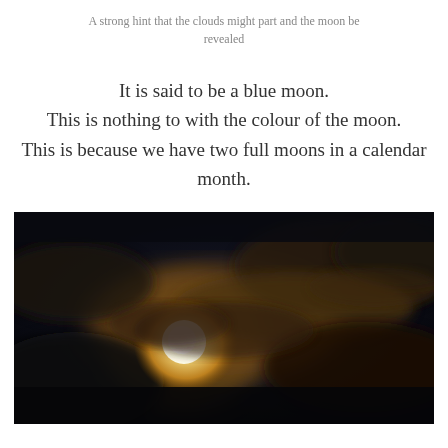A strong hint that the clouds might part and the moon be revealed
It is said to be a blue moon.
This is nothing to with the colour of the moon.
This is because we have two full moons in a calendar month.
[Figure (photo): A night sky photograph showing the moon partially obscured by clouds, with a warm golden glow emanating from behind dark bluish-black clouds.]